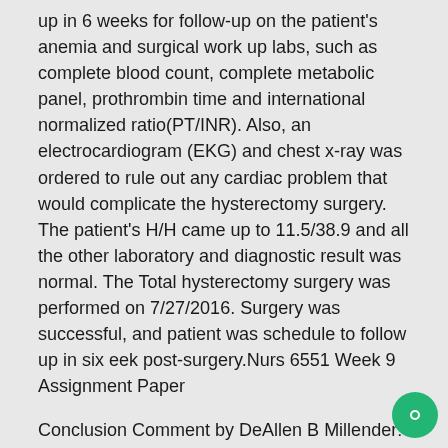up in 6 weeks for follow-up on the patient's anemia and surgical work up labs, such as complete blood count, complete metabolic panel, prothrombin time and international normalized ratio(PT/INR). Also, an electrocardiogram (EKG) and chest x-ray was ordered to rule out any cardiac problem that would complicate the hysterectomy surgery. The patient's H/H came up to 11.5/38.9 and all the other laboratory and diagnostic result was normal. The Total hysterectomy surgery was performed on 7/27/2016. Surgery was successful, and patient was schedule to follow up in six eek post-surgery.Nurs 6551 Week 9 Assignment Paper
Conclusion Comment by DeAllen B Millender: Level 1 headings are centered, in bold print, and in 'Title Case' (Chapter 3, 3.03, pp. 62-63; see Table 3.1 and Figure 2.1).
The author selected a patient at the author's clinical and obtained a complete health history following th